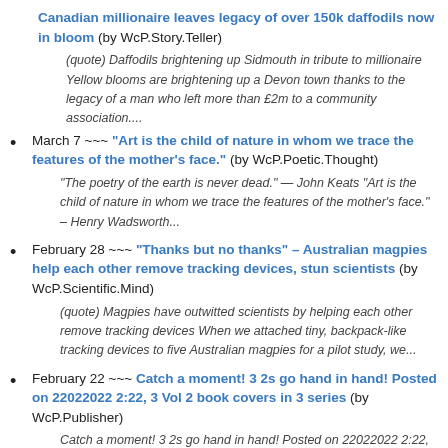Canadian millionaire leaves legacy of over 150k daffodils now in bloom (by WcP.Story.Teller)
(quote) Daffodils brightening up Sidmouth in tribute to millionaire Yellow blooms are brightening up a Devon town thanks to the legacy of a man who left more than £2m to a community association....
March 7 ~~~ "Art is the child of nature in whom we trace the features of the mother's face." (by WcP.Poetic.Thought)
"The poetry of the earth is never dead." — John Keats "Art is the child of nature in whom we trace the features of the mother's face." – Henry Wadsworth...
February 28 ~~~ "Thanks but no thanks" – Australian magpies help each other remove tracking devices, stun scientists (by WcP.Scientific.Mind)
(quote) Magpies have outwitted scientists by helping each other remove tracking devices When we attached tiny, backpack-like tracking devices to five Australian magpies for a pilot study, we...
February 22 ~~~ Catch a moment! 3 2s go hand in hand! Posted on 22022022 2:22, 3 Vol 2 book covers in 3 series (by WcP.Publisher)
Catch a moment! 3 2s go hand in hand! Posted on 22022022 2:22, 3 Vol 2 book